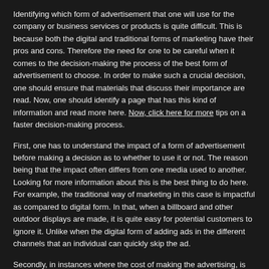Identifying which form of advertisement that one will use for the company or business services or products is quite difficult. This is because both the digital and traditional forms of marketing have their pros and cons. Therefore the need for one to be careful when it comes to the decision-making the process of the best form of advertisement to choose. In order to make such a crucial decision, one should ensure that materials that discuss their importance are read. Now, one should identify a page that has this kind of information and read more here. Now, click here for more tips on a faster decision-making process.
First, one has to understand the impact of a form of advertisement before making a decision as to whether to use it or not. The reason being that the impact often differs from one media used to another. Looking for more information about this is the best thing to do here. For example, the traditional way of marketing in this case is impactful as compared to digital form. In that, when a billboard and other outdoor displays are made, it is quite easy for potential customers to ignore it. Unlike when the digital form of adding ads in the different channels that an individual can quickly skip the ad.
Secondly, in instances where the cost of making the advertising, is